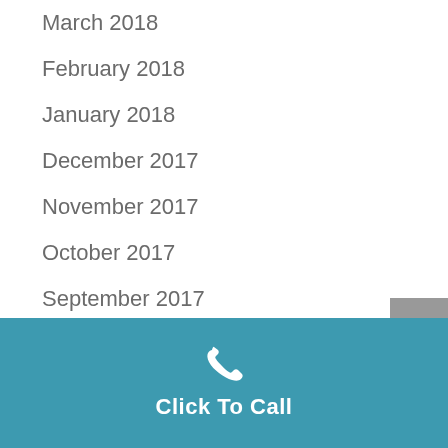March 2018
February 2018
January 2018
December 2017
November 2017
October 2017
September 2017
Click To Call